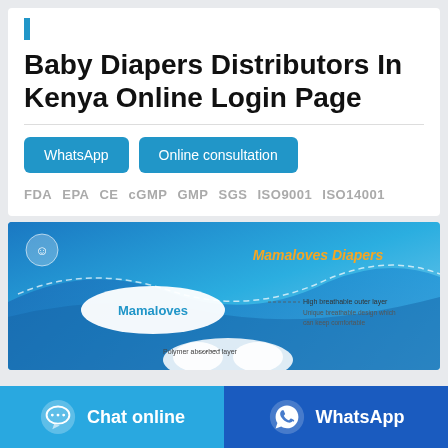Baby Diapers Distributors In Kenya Online Login Page
WhatsApp   Online consultation
FDA  EPA  CE  cGMP  GMP  SGS  ISO9001  ISO14001
[Figure (photo): Mamaloves Diapers product banner showing blue gradient background with cloud logo, 'Mamaloves Diapers' text in yellow/orange, and diaper product with labels for 'High breathable outer layer' and 'Polymer absorbed layer']
Chat online   WhatsApp